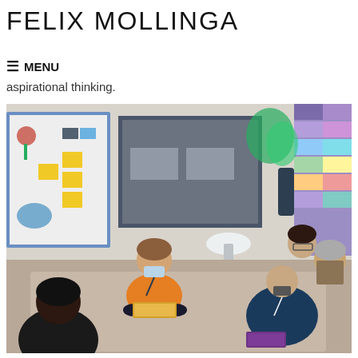FELIX MOLLINGA
≡ MENU
aspirational thinking.
[Figure (photo): A group of people sitting in a circle on the floor in an office/studio space. A person in an orange sweater and face mask is presenting or showing something to others. Colorful sticky notes and project boards are visible on walls in the background.]